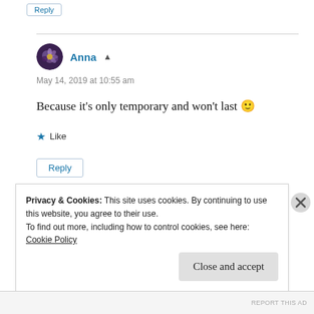Reply
Anna • May 14, 2019 at 10:55 am
Because it's only temporary and won't last 🙂
★ Like
Reply
Privacy & Cookies: This site uses cookies. By continuing to use this website, you agree to their use.
To find out more, including how to control cookies, see here:
Cookie Policy
Close and accept